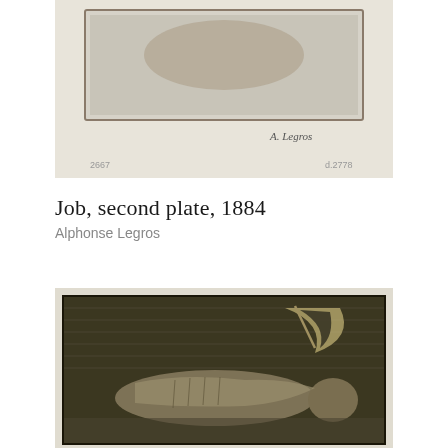[Figure (photo): Etching print showing a reclining figure, signed 'A. Legros' in cursive script at bottom right. Catalog numbers visible: '2667' at lower left and 'd.2778' at lower right. Light grey background.]
Job, second plate, 1884
Alphonse Legros
[Figure (photo): Etching print depicting a gaunt, suffering figure (Job) lying on a surface with a crescent moon and a sickle or scythe visible above. Dark crosshatched background typical of intaglio printmaking. The figure is emaciated and in distress, rendered in detailed sepia-toned etching lines.]